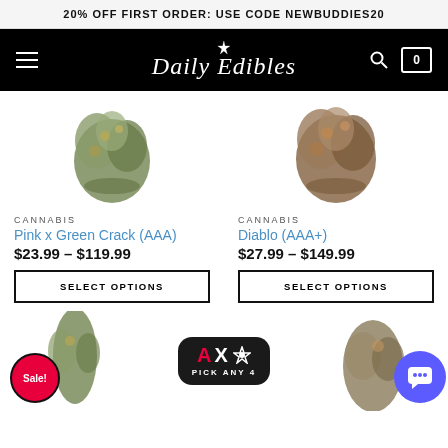20% OFF FIRST ORDER: USE CODE NEWBUDDIES20
[Figure (logo): Daily Edibles cannabis store logo with star/leaf icon on black navigation bar]
[Figure (photo): Cannabis bud product photo for Pink x Green Crack (AAA)]
CANNABIS
Pink x Green Crack (AAA)
$23.99 – $119.99
SELECT OPTIONS
[Figure (photo): Cannabis bud product photo for Diablo (AAA+)]
CANNABIS
Diablo (AAA+)
$27.99 – $149.99
SELECT OPTIONS
[Figure (photo): Cannabis bud with Sale! badge overlay]
[Figure (infographic): AX Pick Any 4 promotional badge in black rounded rectangle]
[Figure (photo): Cannabis bud product photo bottom right, partially visible]
[Figure (other): Blue chat support bubble icon bottom right]